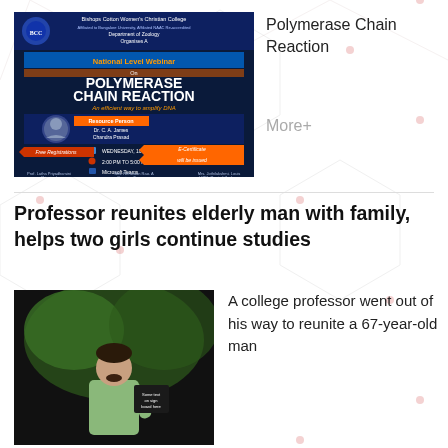[Figure (photo): Webinar poster for Polymerase Chain Reaction national level webinar at Bishops Cotton Women's Christian College, Department of Zoology. Features speaker Dr. C.A. James Chandra Prasad, scheduled Wednesday 10th November 2020, 2:00 PM to 5:00 PM via Microsoft Teams. Free registration with e-certificate.]
Polymerase Chain Reaction
More+
Professor reunites elderly man with family, helps two girls continue studies
[Figure (photo): A college professor standing outdoors with a sign, wearing a light green shirt.]
A college professor went out of his way to reunite a 67-year-old man